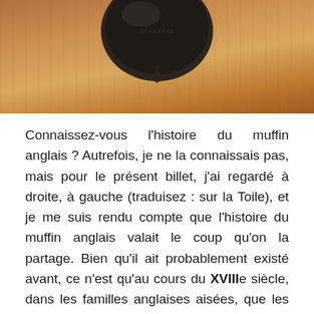[Figure (photo): Close-up photo of a dark round metallic object (possibly a bottle opener or cast iron item) against a wooden surface with warm brown tones.]
Connaissez-vous l'histoire du muffin anglais ? Autrefois, je ne la connaissais pas, mais pour le présent billet, j'ai regardé à droite, à gauche (traduisez : sur la Toile), et je me suis rendu compte que l'histoire du muffin anglais valait le coup qu'on la partage. Bien qu'il ait probablement existé avant, ce n'est qu'au cours du XVIIIe siècle, dans les familles anglaises aisées, que les miches de pain
Confidentialité & Cookies : Ce site utilise des cookies. En continuant à utiliser ce site, vous acceptez leur utilisation.
Pour en savoir davantage, y compris comment contrôler les cookies, voir : Politique relative aux cookies
[Fermer et accepter]
bien que son origine soit incertaine, il semblerait avoir de